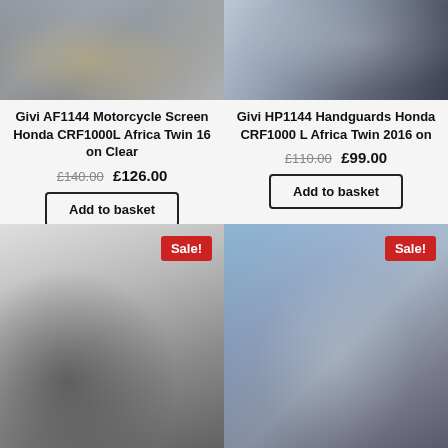[Figure (photo): Motorcycle screen/windshield close-up on Honda CRF1000L Africa Twin]
Givi AF1144 Motorcycle Screen Honda CRF1000L Africa Twin 16 on Clear
£140.00 £126.00
Add to basket
[Figure (photo): Close-up of Honda CRF1000L Africa Twin handguards]
Givi HP1144 Handguards Honda CRF1000 L Africa Twin 2016 on
£110.00 £99.00
Add to basket
[Figure (photo): Motorcycle handguards product photo with Sale badge]
[Figure (photo): Motorcycle front crash bars/headlight guard with Sale badge]